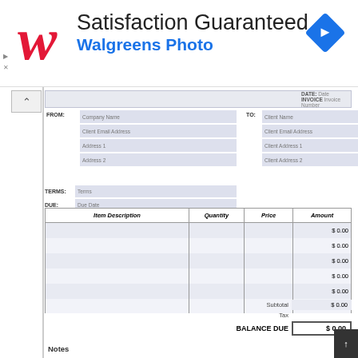[Figure (logo): Walgreens red cursive W logo]
Satisfaction Guaranteed
Walgreens Photo
| Item Description | Quantity | Price | Amount |
| --- | --- | --- | --- |
|  |  |  | $ 0.00 |
|  |  |  | $ 0.00 |
|  |  |  | $ 0.00 |
|  |  |  | $ 0.00 |
|  |  |  | $ 0.00 |
|  |  |  | $ 0.00 |
|  |  |  | $ 0.00 |
|  |  |  | $ 0.00 |
|  |  |  | $ 0.00 |
|  |  |  | $ 0.00 |
Subtotal   $ 0.00
Tax
BALANCE DUE   $ 0.00
Notes